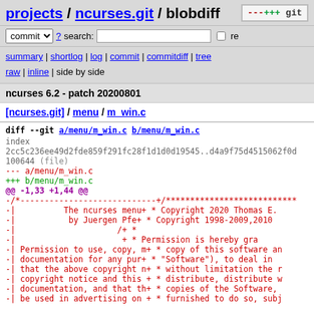projects / ncurses.git / blobdiff
commit ? search: re
summary | shortlog | log | commit | commitdiff | tree
raw | inline | side by side
ncurses 6.2 - patch 20200801
[ncurses.git] / menu / m_win.c
diff --git a/menu/m_win.c b/menu/m_win.c
index 2cc5c236ee49d2fde859f291fc28f1d1d0d19545..d4a9f75d4515062f0d
100644 (file)
--- a/menu/m_win.c
+++ b/menu/m_win.c
@@ -1,33 +1,44 @@
-/*-----------------------------+/***************************
-|     The ncurses menu+ * Copyright 2020 Thomas E.
-|           by Juergen Pfe+ * Copyright 1998-2009,2010
-|                     /+ *
-|                      + * Permission is hereby gra
-| Permission to use, copy, m+ * copy of this software an
-| documentation for any pur+ * "Software"), to deal in
-| that the above copyright n+ * without limitation the r
-| copyright notice and this + * distribute, distribute w
-| documentation, and that th+ * copies of the Software,
-| be used in advertising on+ * furnished to do so, subj